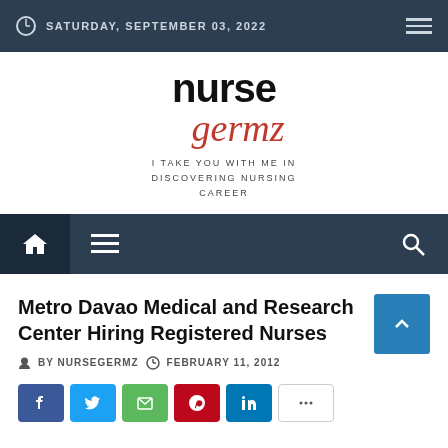SATURDAY, SEPTEMBER 03, 2022
[Figure (logo): NurseGermz blog logo with tagline: I TAKE YOU WITH ME IN DISCOVERING NURSING CAREER]
Navigation bar with home, menu, and search icons
Metro Davao Medical and Research Center Hiring Registered Nurses
BY NURSEGERMZ   FEBRUARY 11, 2012
[Figure (infographic): Social media share buttons: Facebook, Twitter, Email, Pinterest, LinkedIn, More]